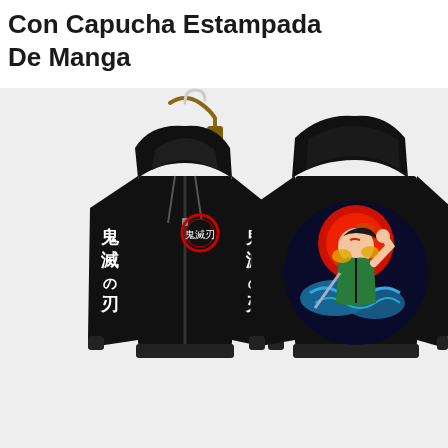Con Capucha Estampada De Manga
[Figure (photo): Product photo showing two views of a black anime hoodie (Demon Slayer / Kimetsu no Yaiba). Left: front view of black zip-up hoodie on a wooden hanger, with a circular Demon Slayer logo on the chest and large white Japanese kanji characters on both sleeves. Right: back view of the same black hoodie showing a large circular anime artwork featuring the character Tanjiro Kamado in a fighting pose with colorful water effects and a red sun backdrop.]